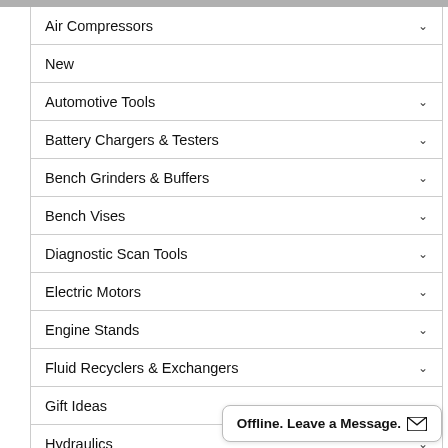Air Compressors
New
Automotive Tools
Battery Chargers & Testers
Bench Grinders & Buffers
Bench Vises
Diagnostic Scan Tools
Electric Motors
Engine Stands
Fluid Recyclers & Exchangers
Gift Ideas
Hydraulics
Lift Equipment
Offline. Leave a Message.